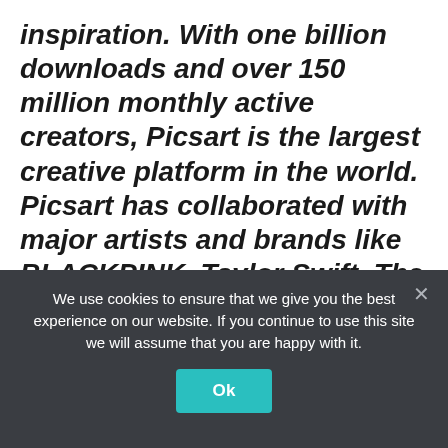inspiration. With one billion downloads and over 150 million monthly active creators, Picsart is the largest creative platform in the world. Picsart has collaborated with major artists and brands like BLACKPINK, Taylor Swift, The Jonas Brothers, Lizzo, Ariana Grande, Jennifer Lopez, One Direction, Sanrio: Hello Kitty, Warner Bros. Entertainment, iHeartMedia, Condé Nast, and more. Download the app or start editing on the web today to enhance your photos and videos with
We use cookies to ensure that we give you the best experience on our website. If you continue to use this site we will assume that you are happy with it.